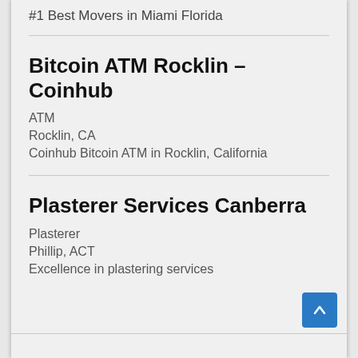#1 Best Movers in Miami Florida
Bitcoin ATM Rocklin – Coinhub
ATM
Rocklin, CA
Coinhub Bitcoin ATM in Rocklin, California
Plasterer Services Canberra
Plasterer
Phillip, ACT
Excellence in plastering services